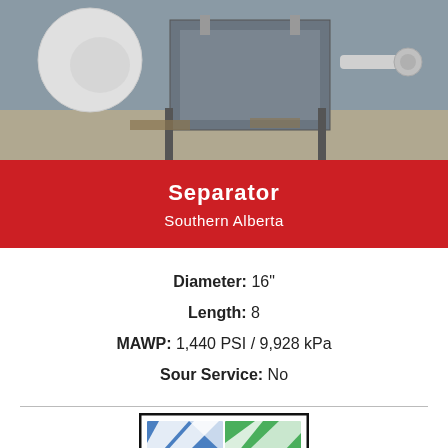[Figure (photo): Industrial separator equipment photo showing large cylindrical vessels, pipes, and equipment on gravel surface outdoors]
Separator
Southern Alberta
Diameter: 16"
Length: 8
MAWP: 1,440 PSI / 9,928 kPa
Sour Service: No
[Figure (logo): Company logo with blue and green geometric shapes inside a black bordered rectangle]